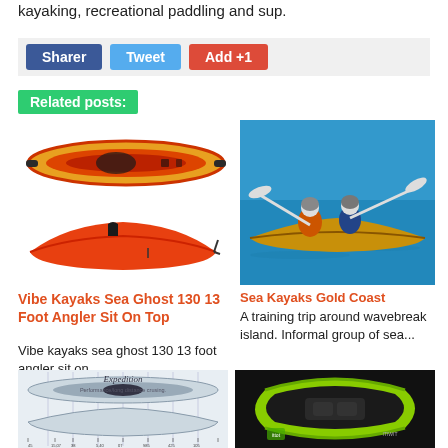kayaking, recreational paddling and sup.
Sharer | Tweet | Add +1
Related posts:
[Figure (photo): Vibe Kayaks Sea Ghost 130 sit-on-top kayak, top view, red/orange/yellow]
[Figure (photo): Vibe Kayaks Sea Ghost 130 angler kayak, side view, red/orange]
Vibe Kayaks Sea Ghost 130 13 Foot Angler Sit On Top
Vibe kayaks sea ghost 130 13 foot angler sit on...
[Figure (photo): Two people paddling a tandem sea kayak on blue water, wearing life vests and hats]
Sea Kayaks Gold Coast
A training trip around wavebreak island. Informal group of sea...
[Figure (photo): Expedition kayak diagram, top and side view, performance/long distance cruising]
[Figure (photo): Inflatable kayak, green and dark grey, top view]